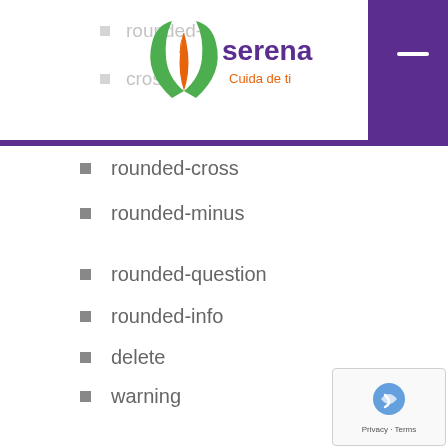Serena - Cuida de ti
rounded-cross
rounded-minus
rounded-question
rounded-info
delete
warning
comment
edit
share
plus